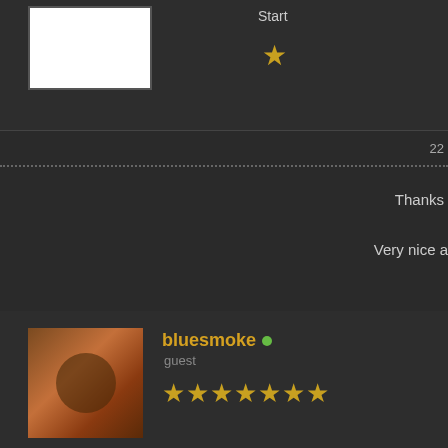[Figure (screenshot): Top section with white avatar placeholder and single star rating with 'Start' label]
22
Thanks
Very nice a
Find
[Figure (logo): UK ECIG STORE logo on grey background with red banner showing 'EVERYTHI VAPING']
bluesmoke
guest
[Figure (photo): User avatar thumbnail showing a brownish mechanical/tool image]
★★★★★★★